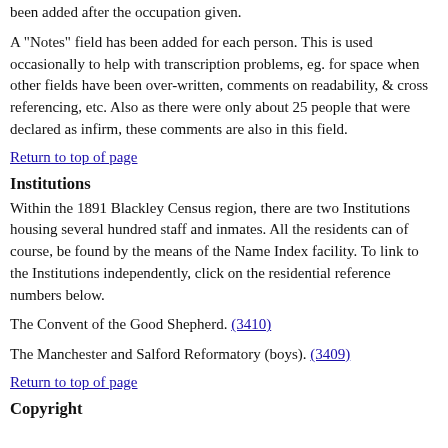been added after the occupation given.
A "Notes" field has been added for each person. This is used occasionally to help with transcription problems, eg. for space when other fields have been over-written, comments on readability, & cross referencing, etc. Also as there were only about 25 people that were declared as infirm, these comments are also in this field.
Return to top of page
Institutions
Within the 1891 Blackley Census region, there are two Institutions housing several hundred staff and inmates. All the residents can of course, be found by the means of the Name Index facility. To link to the Institutions independently, click on the residential reference numbers below.
The Convent of the Good Shepherd. (3410)
The Manchester and Salford Reformatory (boys). (3409)
Return to top of page
Copyright